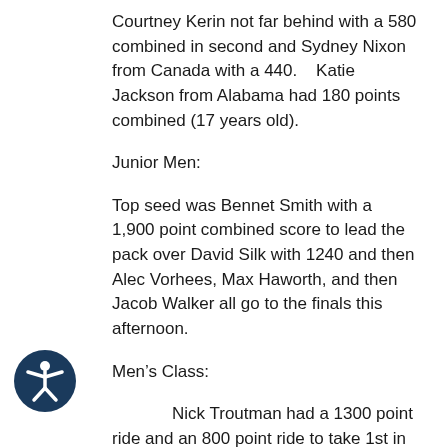Courtney Kerin not far behind with a 580 combined in second and Sydney Nixon from Canada with a 440.    Katie Jackson from Alabama had 180 points combined (17 years old).
Junior Men:
Top seed was Bennet Smith with a 1,900 point combined score to lead the pack over David Silk with 1240 and then Alec Vorhees, Max Haworth, and then Jacob Walker all go to the finals this afternoon.
Men's Class:
Nick Troutman had a 1300 point ride and an 800 point ride to take 1st in the prelims,
[Figure (illustration): Accessibility icon: circular dark blue button with a white figure of a person with arms outstretched]